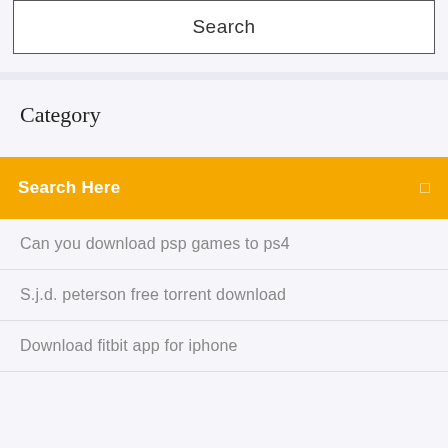[Figure (screenshot): Search input box with text 'Search' centered inside a bordered white rectangle on a light lavender background]
Category
Search Here
Can you download psp games to ps4
S.j.d. peterson free torrent download
Download fitbit app for iphone